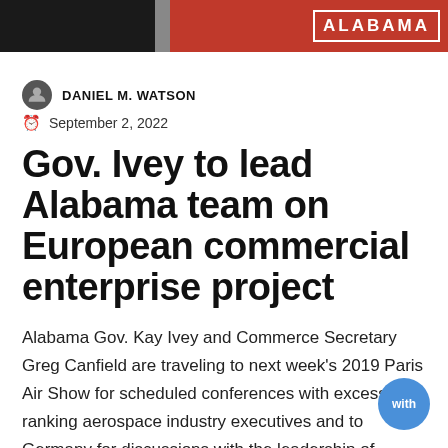[Figure (photo): Cropped photo banner showing people in red setting with Alabama signage]
DANIEL M. WATSON
September 2, 2022
Gov. Ivey to lead Alabama team on European commercial enterprise project
Alabama Gov. Kay Ivey and Commerce Secretary Greg Canfield are traveling to next week's 2019 Paris Air Show for scheduled conferences with excessive-ranking aerospace industry executives and to Germany for discussions with the leadership of Mercedes-Benz.